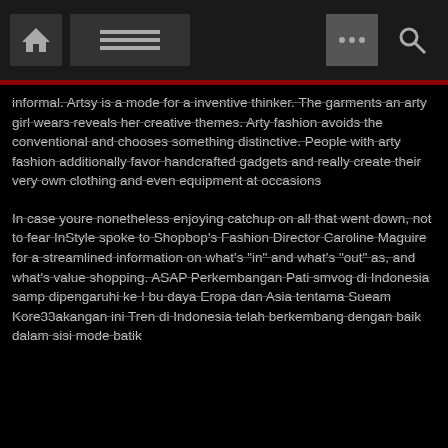[Navigation bar with home icon, menu icon, dots icon, search icon]
informal. Artsy is a mode for a inventive thinker. The garments an arty girl wears reveals her creative themes. Arty fashion avoids the conventional and chooses something distinctive. People with arty fashion additionally favor handcrafted gadgets and really create their very own clothing and even equipment at occasions
In case youre nonetheless enjoying catchup on all that went down, not to fear InStyle spoke to Shopbop's Fashion Director Caroline Maguire for a streamlined information on what's "in" and what's "out" as, and what's value shopping. ASAP Perkembangan Pati smvog di Indonesia samp dipengaruhi ke I bu daya Eropa dan Asia tentama Sueam Kore33akangan ini Tren di Indonesia telah berkembang dengan baik dalam sisi mode batik